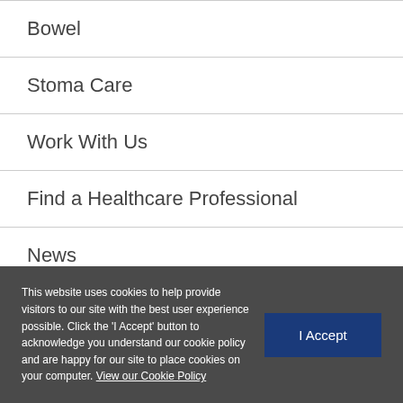Bowel
Stoma Care
Work With Us
Find a Healthcare Professional
News
Privacy Policy
This website uses cookies to help provide visitors to our site with the best user experience possible. Click the 'I Accept' button to acknowledge you understand our cookie policy and are happy for our site to place cookies on your computer. View our Cookie Policy